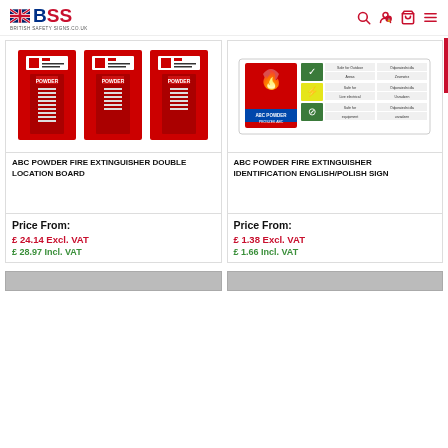BSS British Safety Signs
[Figure (photo): ABC Powder Fire Extinguisher Double Location Board - red board with multiple fire extinguisher illustrations]
ABC POWDER FIRE EXTINGUISHER DOUBLE LOCATION BOARD
Price From: £ 24.14 Excl. VAT £ 28.97 Incl. VAT
[Figure (photo): ABC Powder Fire Extinguisher Identification English/Polish Sign - white sign with fire extinguisher symbols and bilingual text]
ABC POWDER FIRE EXTINGUISHER IDENTIFICATION ENGLISH/POLISH SIGN
Price From: £ 1.38 Excl. VAT £ 1.66 Incl. VAT